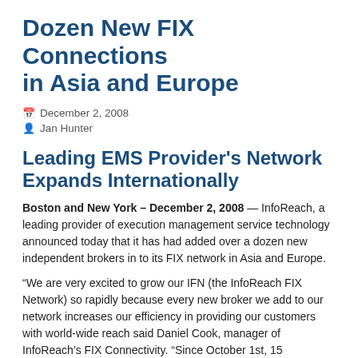Dozen New FIX Connections in Asia and Europe
December 2, 2008
Jan Hunter
Leading EMS Provider's Network Expands Internationally
Boston and New York – December 2, 2008 — InfoReach, a leading provider of execution management service technology announced today that it has had added over a dozen new independent brokers in to its FIX network in Asia and Europe.
“We are very excited to grow our IFN (the InfoReach FIX Network) so rapidly because every new broker we add to our network increases our efficiency in providing our customers with world-wide reach said Daniel Cook, manager of InfoReach’s FIX Connectivity. “Since October 1st, 15 independent brokers have signed on alone which brings the total number of international brokers up to 86. This is a strong indication that despite a tough